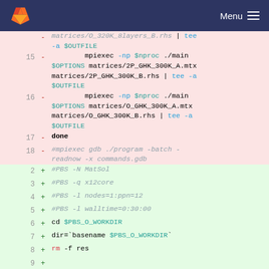Menu
Code diff view showing lines 15-18 (removed, red background) and lines 2-9 (added, green background) of a shell script with mpiexec commands and PBS directives.